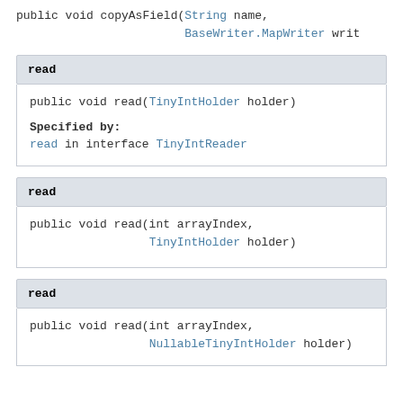public void copyAsField(String name,
                        BaseWriter.MapWriter writ
read
public void read(TinyIntHolder holder)
Specified by:
read in interface TinyIntReader
read
public void read(int arrayIndex,
                 TinyIntHolder holder)
read
public void read(int arrayIndex,
                 NullableTinyIntHolder holder)